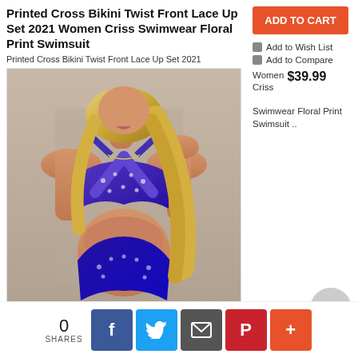Printed Cross Bikini Twist Front Lace Up Set 2021 Women Criss Swimwear Floral Print Swimsuit
Printed Cross Bikini Twist Front Lace Up Set 2021
[Figure (photo): Woman wearing a blue/purple printed cross bikini twist front swimsuit with halter top and high-waist bottoms]
ADD TO CART
Add to Wish List
Add to Compare
Women Criss  $39.99
Swimwear Floral Print Swimsuit ..
0 SHARES
f
t
envelope
p
+